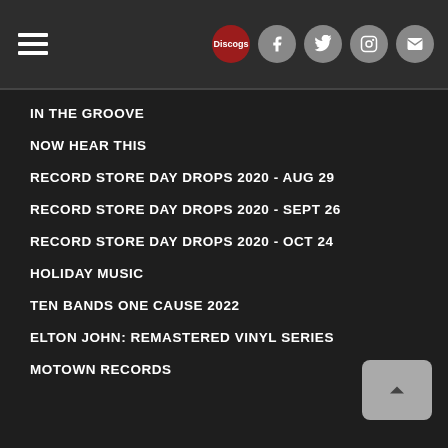Navigation header with hamburger menu and social icons (Discogs, Facebook, Twitter, Instagram, Mail)
IN THE GROOVE
NOW HEAR THIS
RECORD STORE DAY DROPS 2020 - AUG 29
RECORD STORE DAY DROPS 2020 - SEPT 26
RECORD STORE DAY DROPS 2020 - OCT 24
HOLIDAY MUSIC
TEN BANDS ONE CAUSE 2022
ELTON JOHN: REMASTERED VINYL SERIES
MOTOWN RECORDS